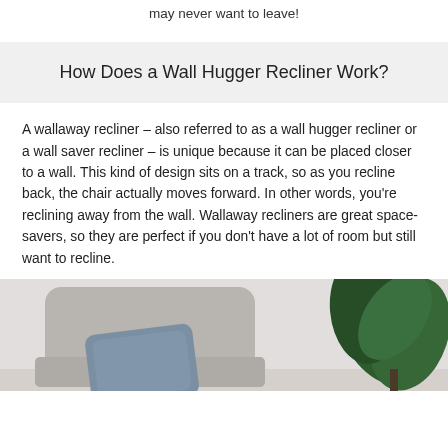may never want to leave!
How Does a Wall Hugger Recliner Work?
A wallaway recliner – also referred to as a wall hugger recliner or a wall saver recliner – is unique because it can be placed closer to a wall. This kind of design sits on a track, so as you recline back, the chair actually moves forward. In other words, you're reclining away from the wall. Wallaway recliners are great space-savers, so they are perfect if you don't have a lot of room but still want to recline.
[Figure (photo): A gray recliner chair with a blue decorative pillow, and a large leafy green plant visible in the background to the right.]